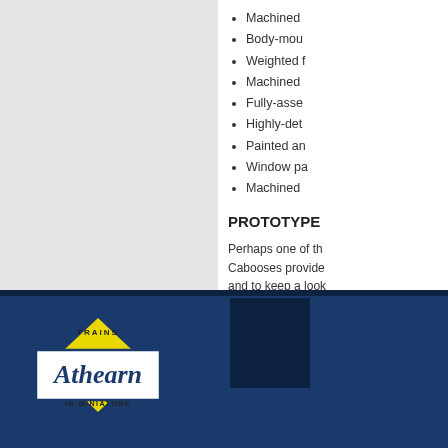Machined
Body-mou
Weighted f
Machined
Fully-asse
Highly-det
Painted an
Window pa
Machined
PROTOTYPE
Perhaps one of th Cabooses provide and to keep a look extended-vision or Island created son applied to the side enlarged. This mo railroads. The exp after World War II.
[Figure (logo): Athearn Trains in Miniature logo: yellow diamond shape with TRAINS text at top and IN MINIATURE text at bottom, white rectangular box overlaid with Athearn in italic script, set against dark navy blue footer background]